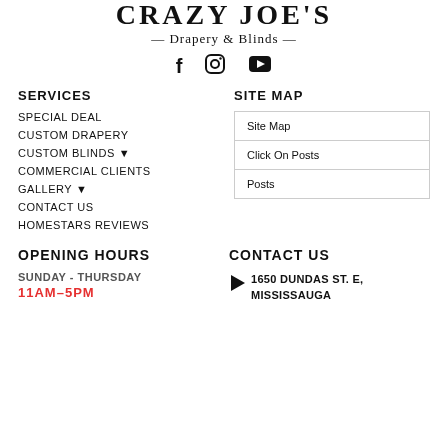CRAZY JOE'S — Drapery & Blinds —
[Figure (infographic): Social media icons: Facebook (f), Instagram (circle with camera), YouTube (play button)]
SERVICES
SITE MAP
SPECIAL DEAL
CUSTOM DRAPERY
CUSTOM BLINDS ▼
COMMERCIAL CLIENTS
GALLERY ▼
CONTACT US
HOMESTARS REVIEWS
| Site Map |
| Click On Posts |
| Posts |
OPENING HOURS
CONTACT US
SUNDAY - THURSDAY
11AM–5PM
1650 DUNDAS ST. E, MISSISSAUGA